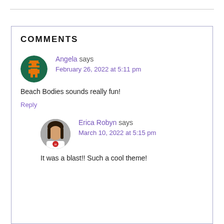COMMENTS
[Figure (illustration): Pixel art avatar icon of a character on a dark green circular background]
Angela says
February 26, 2022 at 5:11 pm
Beach Bodies sounds really fun!
Reply
[Figure (photo): Circular photo of a person with dark hair wearing a shirt with a skull design]
Erica Robyn says
March 10, 2022 at 5:15 pm
It was a blast!! Such a cool theme!